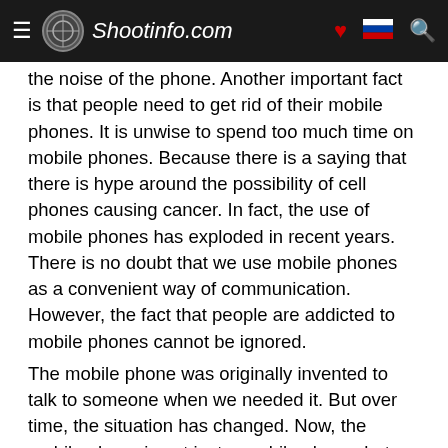Shootinfo.com
the noise of the phone. Another important fact is that people need to get rid of their mobile phones. It is unwise to spend too much time on mobile phones. Because there is a saying that there is hype around the possibility of cell phones causing cancer. In fact, the use of mobile phones has exploded in recent years. There is no doubt that we use mobile phones as a convenient way of communication. However, the fact that people are addicted to mobile phones cannot be ignored.
The mobile phone was originally invented to talk to someone when we needed it. But over time, the situation has changed. Now, the mobile phone is not just a mobile phone, but a computer, portable entertainment equipment, Internet terminal, wallet, GPS navigator, theater center, etc. You can now see that everyone carries their mobile phone with them, no matter where they go, sit down, walk, eat, shop, meet, everywhere, every moment. So have you noticed the problem now? When we pray in church, if someone speaks loudly on the phone, will it be a problem? Is it a problem with the ringing of the phone when watching a movie in a movie theater? Or, what if someone yelled at his cell phone in the library? Yes, we can